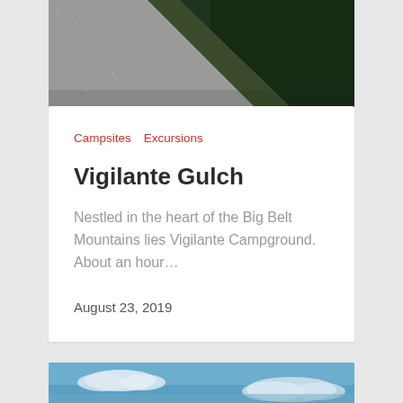[Figure (photo): Aerial or overhead view of a gravel road or path cutting diagonally through dense dark green forest/trees, photographed from above.]
Campsites   Excursions
Vigilante Gulch
Nestled in the heart of the Big Belt Mountains lies Vigilante Campground.  About an hour…
August 23, 2019
[Figure (photo): Partial view of a sky with clouds, bottom portion of another card image.]